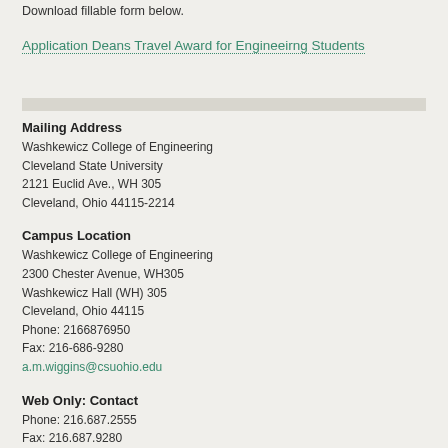Download fillable form below.
Application Deans Travel Award for Engineeirng Students
Mailing Address
Washkewicz College of Engineering
Cleveland State University
2121 Euclid Ave., WH 305
Cleveland, Ohio 44115-2214
Campus Location
Washkewicz College of Engineering
2300 Chester Avenue, WH305
Washkewicz Hall (WH) 305
Cleveland, Ohio 44115
Phone: 2166876950
Fax: 216-686-9280
a.m.wiggins@csuohio.edu
Web Only: Contact
Phone: 216.687.2555
Fax: 216.687.9280
engineering@csuohio.edu